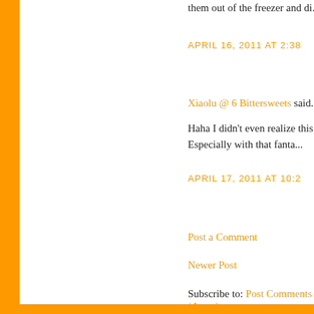them out of the freezer and di...
APRIL 16, 2011 AT 2:38
Xiaolu @ 6 Bittersweets said...
Haha I didn't even realize this now. Especially with that fanta...
APRIL 17, 2011 AT 10:2
Post a Comment
Newer Post
Subscribe to: Post Comments (Atom)